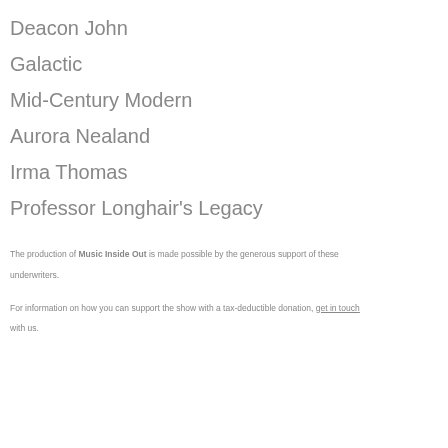Deacon John
Galactic
Mid-Century Modern
Aurora Nealand
Irma Thomas
Professor Longhair's Legacy
The production of Music Inside Out is made possible by the generous support of these underwriters.
For information on how you can support the show with a tax-deductible donation, get in touch with us.